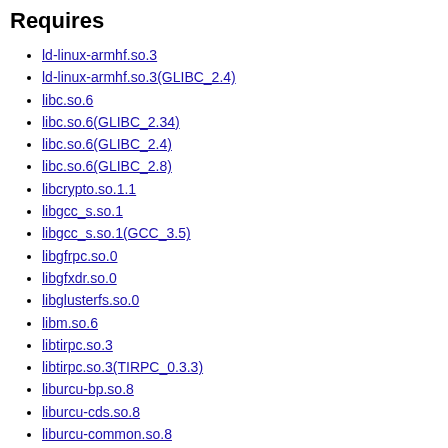Requires
ld-linux-armhf.so.3
ld-linux-armhf.so.3(GLIBC_2.4)
libc.so.6
libc.so.6(GLIBC_2.34)
libc.so.6(GLIBC_2.4)
libc.so.6(GLIBC_2.8)
libcrypto.so.1.1
libgcc_s.so.1
libgcc_s.so.1(GCC_3.5)
libgfrpc.so.0
libgfxdr.so.0
libglusterfs.so.0
libm.so.6
libtirpc.so.3
libtirpc.so.3(TIRPC_0.3.3)
liburcu-bp.so.8
liburcu-cds.so.8
liburcu-common.so.8
libuuid.so.1
libuuid.so.1(UUID_1.0)
libz.so.1
rpmlib(CompressedFileNames) <= 3.0.4-1
rpmlib(FileDigests) <= 4.6.0-1
rpmlib(PayloadFilesHavePrefix) <= 4.0-1